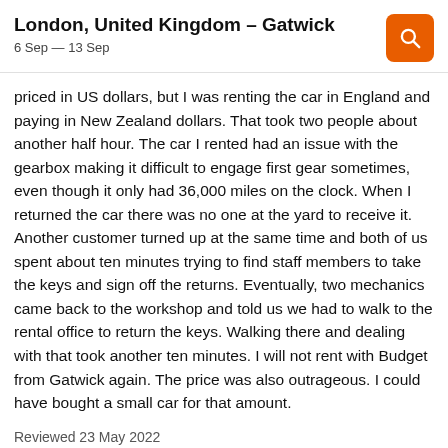London, United Kingdom - Gatwick
6 Sep — 13 Sep
priced in US dollars, but I was renting the car in England and paying in New Zealand dollars. That took two people about another half hour. The car I rented had an issue with the gearbox making it difficult to engage first gear sometimes, even though it only had 36,000 miles on the clock. When I returned the car there was no one at the yard to receive it. Another customer turned up at the same time and both of us spent about ten minutes trying to find staff members to take the keys and sign off the returns. Eventually, two mechanics came back to the workshop and told us we had to walk to the rental office to return the keys. Walking there and dealing with that took another ten minutes. I will not rent with Budget from Gatwick again. The price was also outrageous. I could have bought a small car for that amount.
Reviewed 23 May 2022